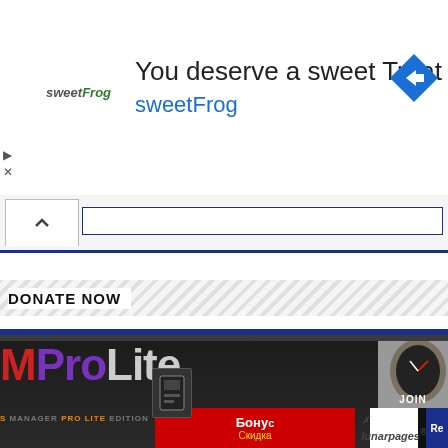[Figure (screenshot): SweetFrog advertisement banner with logo, text 'You deserve a sweet Treat' and 'sweetFrog', with a blue navigation arrow icon on the right]
[Figure (screenshot): Browser navigation bar with back/caret button and URL input field with blue border]
DONATE NOW
[Figure (screenshot): PayPal Donate button with credit card icons below (Visa, Mastercard, Maestro, American Express, Discover, and another card) inside a bordered box]
[Figure (screenshot): Bottom advertisement banners: MPro Lite (Business Manager Pro Lite Edition), a Russian language bonus/discount banner, Lunarpages hosting banner, and a watch/JOIN banner]